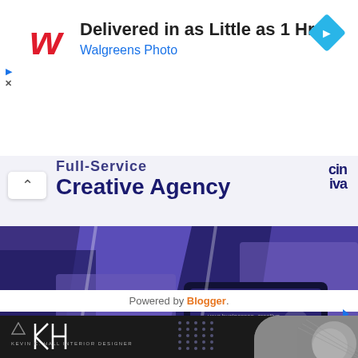[Figure (screenshot): Walgreens Photo advertisement banner: 'Delivered in as Little as 1 Hr' with Walgreens red cursive W logo and blue navigation arrow icon]
[Figure (screenshot): Ciniva Full-Service Creative Agency advertisement with dark navy banner showing 'Creative Agency' text and Ciniva logo, collage of creative agency photos, open button]
Powered by Blogger.
[Figure (screenshot): Kevin C. Hall Interior Designer advertisement with dark background, KH monogram logo, dot grid pattern, and circular object image]